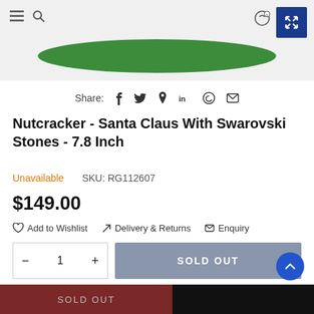[Figure (screenshot): Top portion of a product page screenshot showing a green base/bottom of a Nutcracker figurine with navigation icons on top-left and an expand button on top-right]
Share: f ψ ℗ in ⊕ ✉
Nutcracker - Santa Claus With Swarovski Stones - 7.8 Inch
Unavailable   SKU: RG112607
$149.00
♡ Add to Wishlist   ⟩ Delivery & Returns   ✉ Enquiry
— 1 +   SOLD OUT
I agree with the terms and conditions and I have read the safety and usage instructions
SOLD OUT